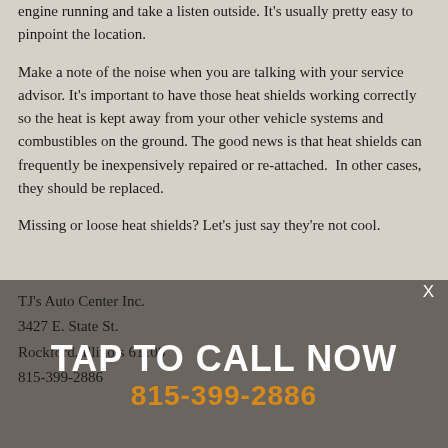engine running and take a listen outside. It's usually pretty easy to pinpoint the location.
Make a note of the noise when you are talking with your service advisor. It's important to have those heat shields working correctly so the heat is kept away from your other vehicle systems and combustibles on the ground. The good news is that heat shields can frequently be inexpensively repaired or re-attached. In other cases, they should be replaced.
Missing or loose heat shields? Let's just say they're not cool.
TJ's Auto Center Inc.
3427 E. State St.
Rockford, Illinois 61108
815-399-2886
TAP TO CALL NOW
815-399-2886